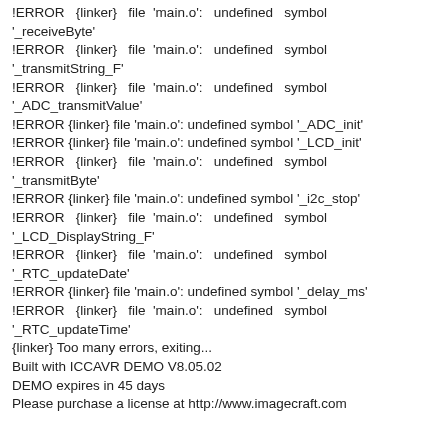!ERROR {linker} file 'main.o': undefined symbol '_receiveByte'
!ERROR {linker} file 'main.o': undefined symbol '_transmitString_F'
!ERROR {linker} file 'main.o': undefined symbol '_ADC_transmitValue'
!ERROR {linker} file 'main.o': undefined symbol '_ADC_init'
!ERROR {linker} file 'main.o': undefined symbol '_LCD_init'
!ERROR {linker} file 'main.o': undefined symbol '_transmitByte'
!ERROR {linker} file 'main.o': undefined symbol '_i2c_stop'
!ERROR {linker} file 'main.o': undefined symbol '_LCD_DisplayString_F'
!ERROR {linker} file 'main.o': undefined symbol '_RTC_updateDate'
!ERROR {linker} file 'main.o': undefined symbol '_delay_ms'
!ERROR {linker} file 'main.o': undefined symbol '_RTC_updateTime'
{linker} Too many errors, exiting...
Built with ICCAVR DEMO V8.05.02
DEMO expires in 45 days
Please purchase a license at http://www.imagecraft.com